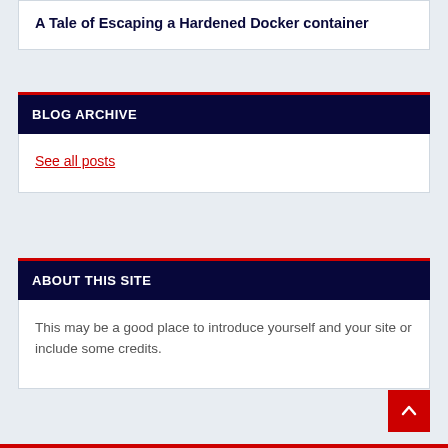A Tale of Escaping a Hardened Docker container
BLOG ARCHIVE
See all posts
ABOUT THIS SITE
This may be a good place to introduce yourself and your site or include some credits.